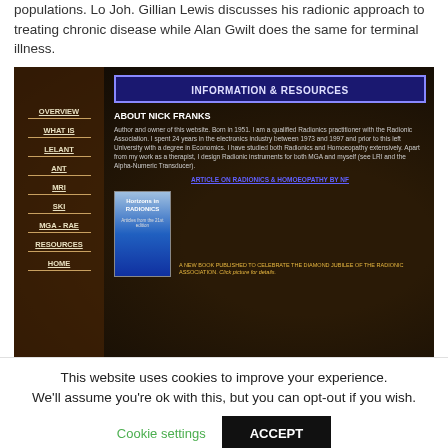populations. Lo Joh. Gillian Lewis discusses his radionic approach to treating chronic disease while Alan Gwilt does the same for terminal illness.
[Figure (screenshot): Screenshot of a radionics website showing 'Information & Resources' page with About Nick Franks section, navigation menu, book cover for 'Horizons in Radionics', and a caption about a new book published for the Diamond Jubilee of the Radionic Association.]
This website uses cookies to improve your experience. We'll assume you're ok with this, but you can opt-out if you wish.
Cookie settings  ACCEPT